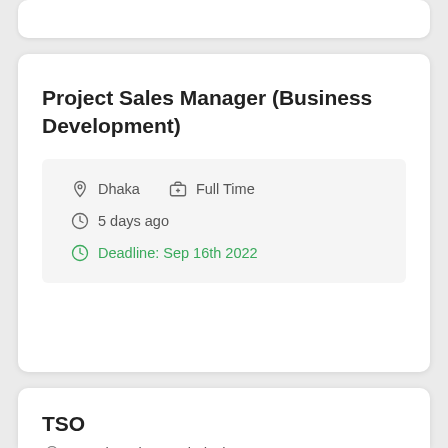Project Sales Manager (Business Development)
Dhaka   Full Time
5 days ago
Deadline: Sep 16th 2022
TSO
Anywhere in Bangladesh